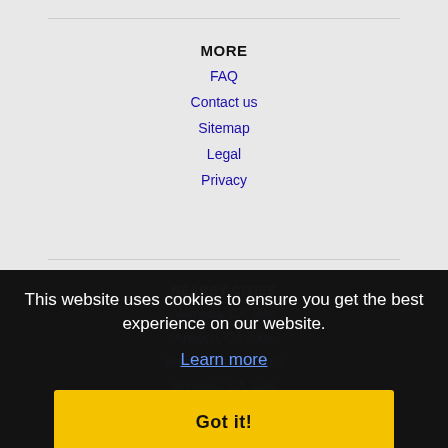MORE
FAQ
Contact us
Sitemap
Legal
Privacy
NEARBY CITIES
Alameda, CA Jobs
Antioch, CA Jobs
Brentwood, CA Jobs
Berkeley, CA Jobs
Brentwood, CA Jobs
Carmichael, CA Jobs
Castro Valley, CA Jobs
This website uses cookies to ensure you get the best experience on our website.
Learn more
Got it!